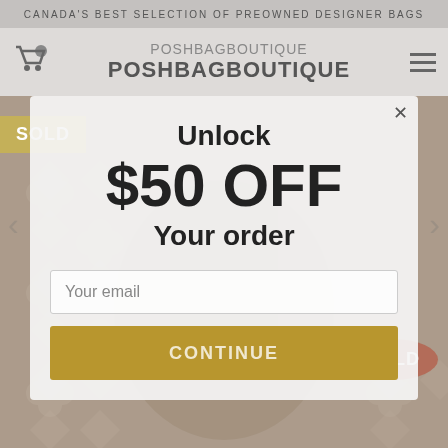CANADA'S BEST SELECTION OF PREOWNED DESIGNER BAGS
[Figure (logo): PoshBag Boutique logo with cart icon and hamburger menu]
[Figure (screenshot): Website popup overlay on PoshBagBoutique.com showing a promotional discount offer with email capture form]
Unlock $50 OFF Your order
Your email
CONTINUE